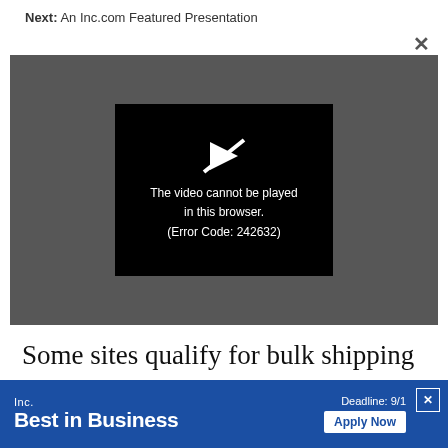Next: An Inc.com Featured Presentation
[Figure (screenshot): Video player showing error message: 'The video cannot be played in this browser. (Error Code: 242632)' on a dark gray background with a black error dialog and a crossed-out play icon.]
Some sites qualify for bulk shipping discounts by upgrading customers to faster delivery options. This can be a
[Figure (infographic): Inc. Best in Business advertisement banner with blue background, 'Inc. Best in Business' text in white, 'Deadline: 9/1' label, and 'Apply Now' button in white.]